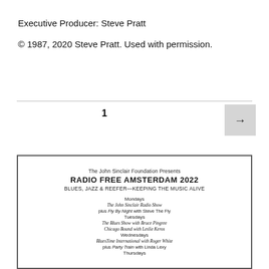Executive Producer: Steve Pratt
© 1987, 2020 Steve Pratt. Used with permission.
1
[Figure (other): Navigation button with right arrow]
[Figure (other): Document excerpt showing: The John Sinclair Foundation Presents RADIO FREE AMSTERDAM 2022 BLUES, JAZZ & REEFER—KEEPING THE MUSIC ALIVE. Mondays: The John Sinclair Radio Show plus Fly By Night with Steve The Fly. Tuesdays: The Blues Show with Bruce Pingree, Chicago Bound with Leslie Keros. Wednesdays: BluesTime International with Roger White, plus Party Train with Linda Lexy. Thursdays: (cut off)]